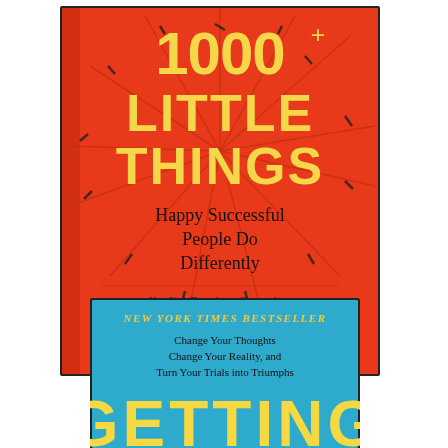[Figure (illustration): Book cover of '1000+ Little Things Happy Successful People Do Differently' by Marc & Angel Chernoff. Red/orange background with yellow hand-lettered title text, subtitle in black, and author names at bottom.]
[Figure (illustration): Partial book cover of 'Getting Back to Happy' on a blue background, labeled as New York Times Bestseller, with subtitle 'Change Your Thoughts Change Your Reality, and Turn Your Trials into Triumphs'. Yellow title text 'GETTING' partially visible.]